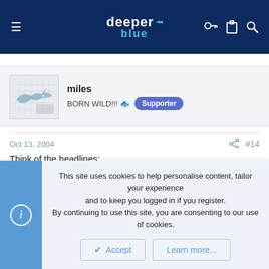deeper blue — navigation header
miles
BORN WILD!!! 🐟 Supporter
Oct 13, 2004  #14
Think of the headlines:

"Moster Tuna shot with gun built by Uncle Sven!!!!"
This site uses cookies to help personalise content, tailor your experience and to keep you logged in if you register.
By continuing to use this site, you are consenting to our use of cookies.